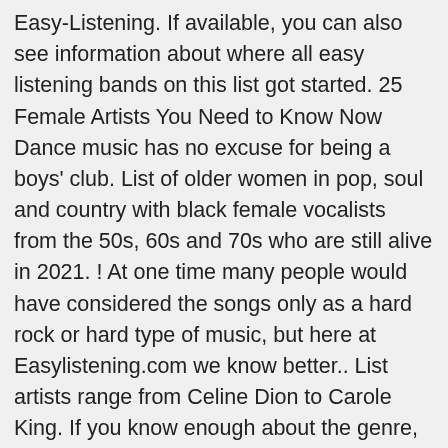Easy-Listening. If available, you can also see information about where all easy listening bands on this list got started. 25 Female Artists You Need to Know Now Dance music has no excuse for being a boys' club. List of older women in pop, soul and country with black female vocalists from the 50s, 60s and 70s who are still alive in 2021. ! At one time many people would have considered the songs only as a hard rock or hard type of music, but here at Easylistening.com we know better.. List artists range from Celine Dion to Carole King. If you know enough about the genre, please vote based on the quality of the band's music instead of just voting for the most popular easy listening bands that you might've heard of, but not really listened to closely enough to cast an informed vote. The list includes all new easy listening bands, and if there are any missing on the list, you can always add them yourself. Live easy listening radio stations online from United States. Re-rank this list so that it's in the order you think it should be in. Just make sure they aren't already on the list and check your spelling, because this is already an accurate compilation of the best examples of easy listening, as well as a good place to start if